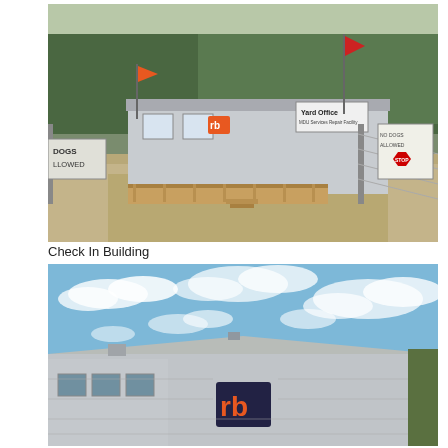[Figure (photo): Exterior photograph of a yard office check-in building with 'rb' logo, wooden deck, chain-link fence, flags, and pine trees in background. A sign reads 'Yard Office' and another reads 'DOGS [NOT A]LLOWED'.]
Check In Building
[Figure (photo): Exterior photograph of a large metal warehouse/industrial building with 'rb' logo on the side, blue sky with scattered clouds in background.]